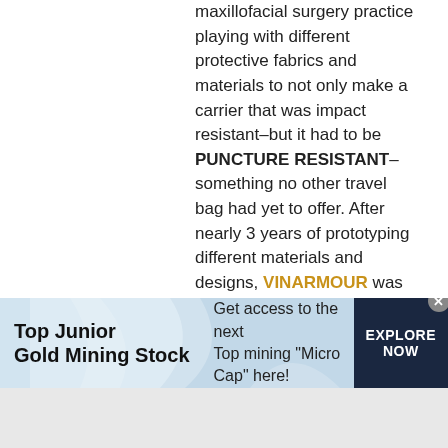maxillofacial surgery practice playing with different protective fabrics and materials to not only make a carrier that was impact resistant–but it had to be PUNCTURE RESISTANT–something no other travel bag had yet to offer. After nearly 3 years of prototyping different materials and designs, VINARMOUR was issued a patent for the first collapsible, leakproof protective bag for traveling with wine. Impact resistance is provided by using XRD® Extreme Impact Protection foam, which absorbs 90% of impact energy. Dyneema® and Kevlar® fabrics–both stronger than steel on a molecular weight level and used in making military body armor–provide excellent puncture resistance to make sure that even if
[Figure (infographic): Advertisement banner for Top Junior Gold Mining Stock with light blue wave background, dark navy call-to-action button reading EXPLORE NOW, and close button]